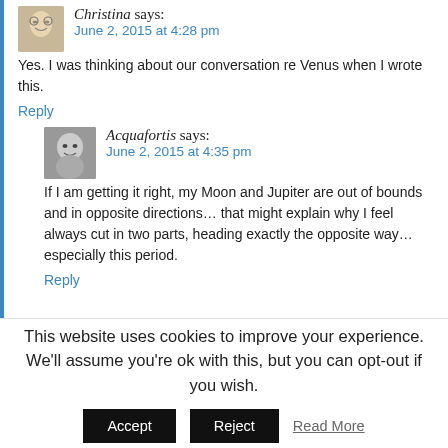Christina says: June 2, 2015 at 4:28 pm
Yes. I was thinking about our conversation re Venus when I wrote this.
Reply
Acquafortis says: June 2, 2015 at 4:35 pm
If I am getting it right, my Moon and Jupiter are out of bounds and in opposite directions… that might explain why I feel always cut in two parts, heading exactly the opposite way… especially this period.
Reply
This website uses cookies to improve your experience. We'll assume you're ok with this, but you can opt-out if you wish.
Accept
Reject
Read More